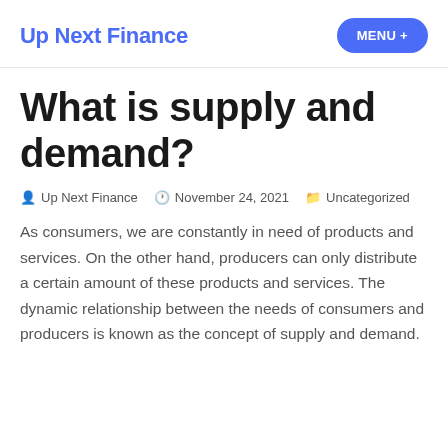Up Next Finance | MENU +
What is supply and demand?
Up Next Finance  November 24, 2021  Uncategorized
As consumers, we are constantly in need of products and services. On the other hand, producers can only distribute a certain amount of these products and services. The dynamic relationship between the needs of consumers and producers is known as the concept of supply and demand.